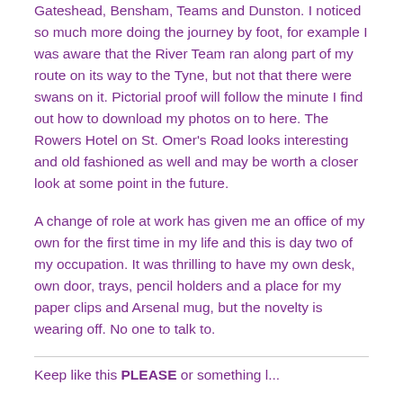Gateshead, Bensham, Teams and Dunston. I noticed so much more doing the journey by foot, for example I was aware that the River Team ran along part of my route on its way to the Tyne, but not that there were swans on it. Pictorial proof will follow the minute I find out how to download my photos on to here. The Rowers Hotel on St. Omer's Road looks interesting and old fashioned as well and may be worth a closer look at some point in the future.
A change of role at work has given me an office of my own for the first time in my life and this is day two of my occupation. It was thrilling to have my own desk, own door, trays, pencil holders and a place for my paper clips and Arsenal mug, but the novelty is wearing off. No one to talk to.
Keep like this PLEASE or something l...